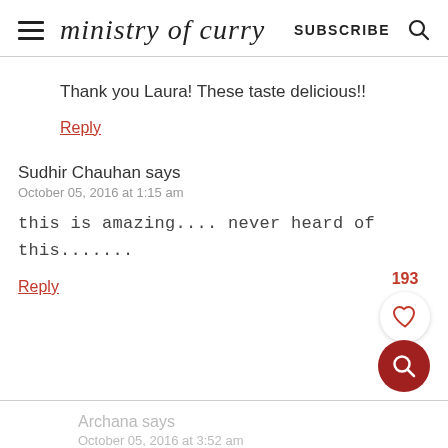ministry of curry  SUBSCRIBE
Thank you Laura! These taste delicious!!
Reply
Sudhir Chauhan says
October 05, 2016 at 1:15 am
this is amazing.... never heard of this.......
Reply
Archana says
October 05, 2016 at 3:52 am